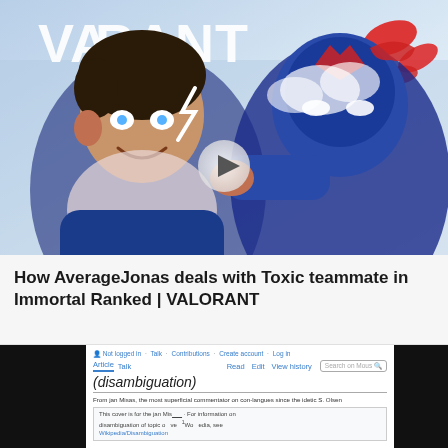[Figure (illustration): Cartoon/illustrated YouTube video thumbnail showing AverageJonas character (anime-style young man with glowing eyes, blue jacket) facing a blue armored Valorant character, with the word VALORANT visible in the background and a play button overlay in the center.]
How AverageJonas deals with Toxic teammate in Immortal Ranked | VALORANT
[Figure (screenshot): Screenshot of a wiki-style disambiguation page (Jan Mis style) showing article, talk, read, edit, view history tabs, a search box, title reading '(disambiguation)', subheading 'From jan Misas, the most superficial commentator on con-langues since the idetic S. Olsen', and a notice box with text about disambiguation of topic on Wikipedia.]